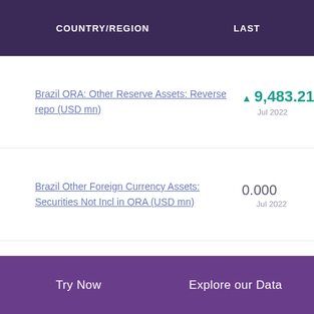| COUNTRY/REGION | LAST |
| --- | --- |
| Brazil ORA: Other Reserve Assets: Reverse repo (USD mn) | ▲ 9,483.214 Jul 2022 |
| Brazil Other Foreign Currency Assets: Securities Not Incl in ORA (USD mn) | 0.000 Jul 2022 |
| Brazil Other Foreign Currency Assets: Deposits Not Incl in ORA (USD mn) | 0.000 Jul 2022 |
Try Now   Explore our Data